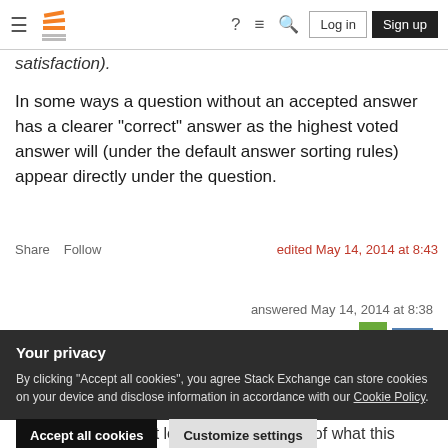Stack Exchange navigation bar with Log in and Sign up buttons
satisfaction).
In some ways a question without an accepted answer has a clearer "correct" answer as the highest voted answer will (under the default answer sorting rules) appear directly under the question.
Share   Follow   edited May 14, 2014 at 8:43
answered May 14, 2014 at 8:38
Your privacy
By clicking "Accept all cookies", you agree Stack Exchange can store cookies on your device and disclose information in accordance with our Cookie Policy.
Accept all cookies   Customize settings
helping the user... at least in the definition of what this